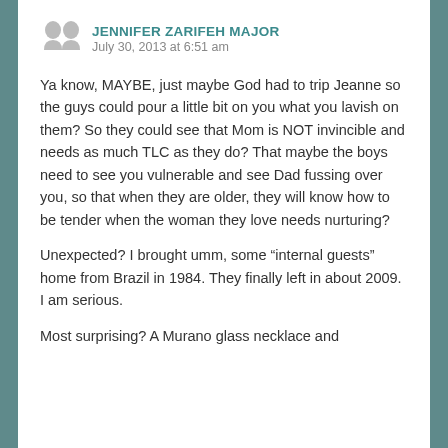JENNIFER ZARIFEH MAJOR
July 30, 2013 at 6:51 am
Ya know, MAYBE, just maybe God had to trip Jeanne so the guys could pour a little bit on you what you lavish on them? So they could see that Mom is NOT invincible and needs as much TLC as they do? That maybe the boys need to see you vulnerable and see Dad fussing over you, so that when they are older, they will know how to be tender when the woman they love needs nurturing?
Unexpected? I brought umm, some “internal guests” home from Brazil in 1984. They finally left in about 2009. I am serious.
Most surprising? A Murano glass necklace and